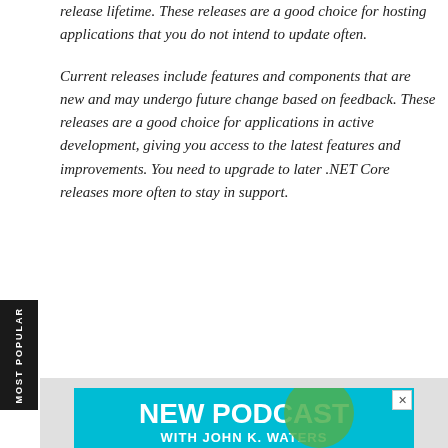release lifetime. These releases are a good choice for hosting applications that you do not intend to update often.
Current releases include features and components that are new and may undergo future change based on feedback. These releases are a good choice for applications in active development, giving you access to the latest features and improvements. You need to upgrade to later .NET Core releases more often to stay in support.
[Figure (infographic): Advertisement banner for 'NEW PODCAST WITH JOHN K. WATERS' on a teal/cyan background with a green circle accent and a person's head visible at the bottom. Has a close (X) button in the top right.]